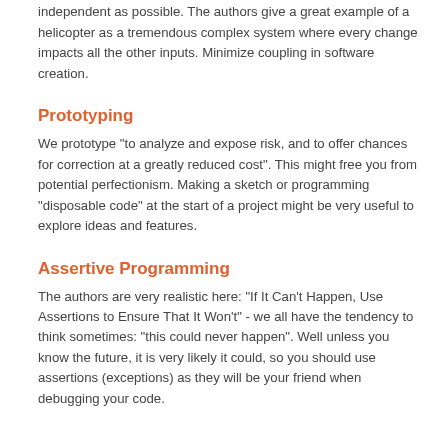Decouple your software modules, let components be as independent as possible. The authors give a great example of a helicopter as a tremendous complex system where every change impacts all the other inputs. Minimize coupling in software creation.
Prototyping
We prototype "to analyze and expose risk, and to offer chances for correction at a greatly reduced cost". This might free you from potential perfectionism. Making a sketch or programming "disposable code" at the start of a project might be very useful to explore ideas and features.
Assertive Programming
The authors are very realistic here: "If It Can't Happen, Use Assertions to Ensure That It Won't" - we all have the tendency to think sometimes: "this could never happen". Well unless you know the future, it is very likely it could, so you should use assertions (exceptions) as they will be your friend when debugging your code.